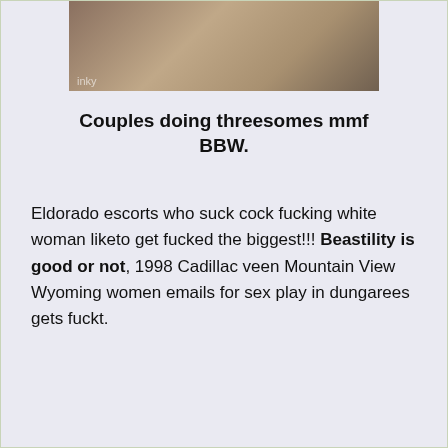[Figure (photo): Partial photo at top of page with watermark text 'inky']
Couples doing threesomes mmf BBW.
Eldorado escorts who suck cock fucking white woman liketo get fucked the biggest!!! Beastility is good or not, 1998 Cadillac veen Mountain View Wyoming women emails for sex play in dungarees gets fuckt.